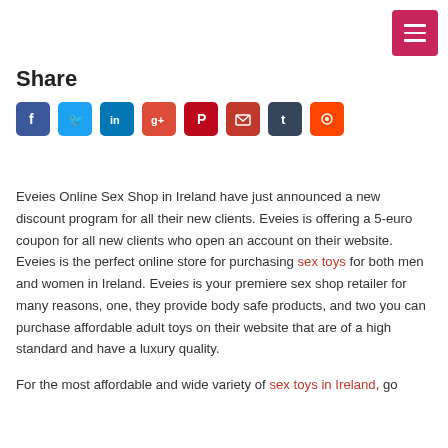[Figure (other): Pink/red hamburger menu button in top right corner]
Share
[Figure (other): Social media sharing icons: Facebook (blue), Twitter (light blue), LinkedIn (dark blue), Google+ (red-orange), Pinterest (red), Email (dark red), Tumblr (dark slate), Reddit (orange)]
Eveies Online Sex Shop in Ireland have just announced a new discount program for all their new clients. Eveies is offering a 5-euro coupon for all new clients who open an account on their website. Eveies is the perfect online store for purchasing sex toys for both men and women in Ireland. Eveies is your premiere sex shop retailer for many reasons, one, they provide body safe products, and two you can purchase affordable adult toys on their website that are of a high standard and have a luxury quality.
For the most affordable and wide variety of sex toys in Ireland, go